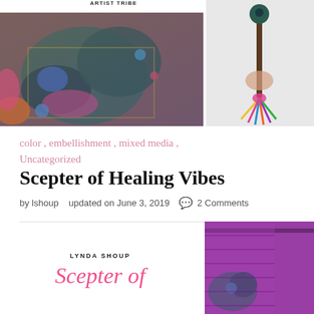ARTIST TRIBE
[Figure (photo): Close-up of a colorful mixed media art piece with teal, pink, blue, and gold textures and fabric embellishments]
[Figure (photo): Hand holding a decorated scepter/wand with colorful yarn tassels and beaded top against a light background]
color , embellishment , mixed media , Uncategorized
Scepter of Healing Vibes
by lshoup   updated on June 3, 2019  💬 2 Comments
[Figure (photo): Mixed media art with purple fabric and teal decorative elements, with LYNDA SHOUP author credit and cursive Scepter of text]
[Figure (photo): Close-up of colorful mixed media art with bright purple and teal fabric textures, with a semi-transparent pink badge overlay]